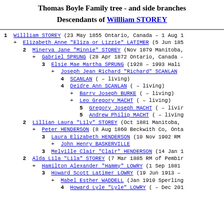Thomas Boyle Family tree - and side branches
Descendants of Willliam STOREY
1  Willliam STOREY (23 May 1855 Ontario, Canada - 1 Aug 1
+  Elizabeth Anne "Eliza or Lizzie" LATIMER (5 Jun 185
2  Minerva Jane "Minnie" STOREY (Nov 1879 Manitoba,
+  Gabriel SPRUNG (28 Apr 1872 Ontario, Canada -
3  Elsie Mae Martha SPRUNG (1928 - 1993 Hali
+  Joseph Jean Richard "Richard" SCANLAN
4  SCANLAN ( - living)
4  Deidre Ann SCANLAN ( - living)
+  Barry Joseph BURKE ( - living)
+  Leo Gregory MACHT ( - living)
5  Gregory Joseph MACHT ( - livir
5  Andrew Philip MACHT ( - living
2  Lillian Laura "Lily" STOREY (Oct 1881 Manitoba,
+  Peter HENDERSON (8 Aug 1860 Beckwith Co, Onta
3  Laura Elizabeth HENDERSON (10 Nov 1902 RM
+  John Henry BASKERVILLE
3  Melville Clair "Clair" HENDERSON (14 Jan 1
2  Alda Lila "Lila" STOREY (7 Mar 1885 RM of Pembir
+  Hamilton Alexander "Hammy" LOWRY (1 Sep 1881
3  Howard Scott Latimer LOWRY (19 Jun 1913 -
+  Mabel Esther WADDELL (Jan 1910 Sperling
4  Howard Lyle "Lyle" LOWRY ( - Dec 201